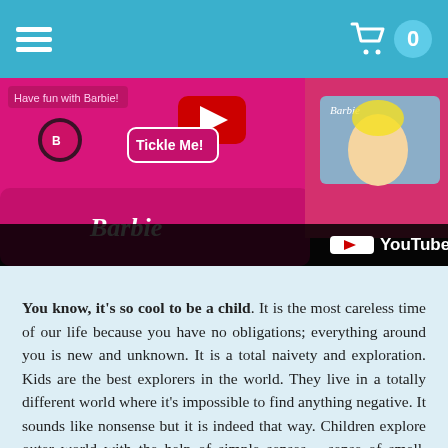Menu | Cart 0
[Figure (photo): Close-up photo of pink Barbie branded toys and accessories including a laptop and credit card, with a YouTube overlay bar at the bottom.]
You know, it's so cool to be a child. It is the most careless time of our life because you have no obligations; everything around you is new and unknown. It is a total naivety and exploration. Kids are the best explorers in the world. They live in a totally different world where it's impossible to find anything negative. It sounds like nonsense but it is indeed that way. Children explore outer world with the help of simple senses – sense of smell, touch, sight and others. That is why it is so important to raise children in an atmosphere of happiness and love. Everything must be perfect because child's mentality is